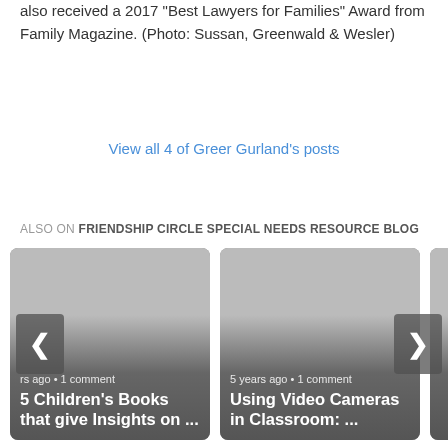also received a 2017 “Best Lawyers for Families” Award from Family Magazine. (Photo: Sussan, Greenwald & Wesler)
View all 4 of Greer Gurland's posts
ALSO ON FRIENDSHIP CIRCLE SPECIAL NEEDS RESOURCE BLOG
[Figure (screenshot): Blog post card: '5 Children’s Books that give Insights on ...' with meta 'rs ago • 1 comment']
[Figure (screenshot): Blog post card: 'Using Video Cameras in Classroom: ...' with meta '5 years ago • 1 comment']
[Figure (screenshot): Partially visible third blog post card on the right edge]